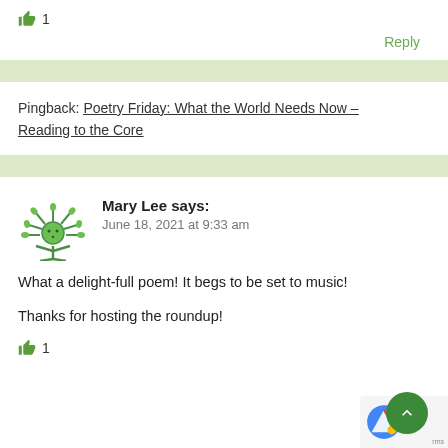[Figure (other): Green thumbs up icon with like count 1]
Reply
[Figure (other): Light green horizontal divider bar]
Pingback: Poetry Friday: What the World Needs Now – Reading to the Core
[Figure (other): Light green horizontal divider bar]
[Figure (illustration): Green plant/flower character avatar for Mary Lee]
Mary Lee says: June 18, 2021 at 9:33 am
What a delight-full poem! It begs to be set to music!

Thanks for hosting the roundup!
[Figure (other): Green thumbs up icon with like count 1]